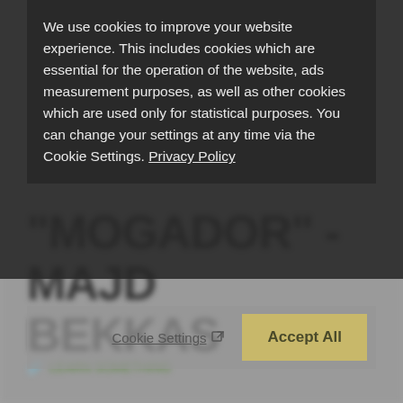[Figure (screenshot): Cookie consent modal overlay on a webpage. The modal shows cookie policy text with a Privacy Policy link, Cookie Settings button, and Accept All button. Behind the modal, blurred page content shows a title reading 'MOGADOR - MAJD BEKKAS' and a green link at the bottom.]
We use cookies to improve your website experience. This includes cookies which are essential for the operation of the website, ads measurement purposes, as well as other cookies which are used only for statistical purposes. You can change your settings at any time via the Cookie Settings. Privacy Policy
Cookie Settings  Accept All
"MOGADOR" - MAJD BEKKAS